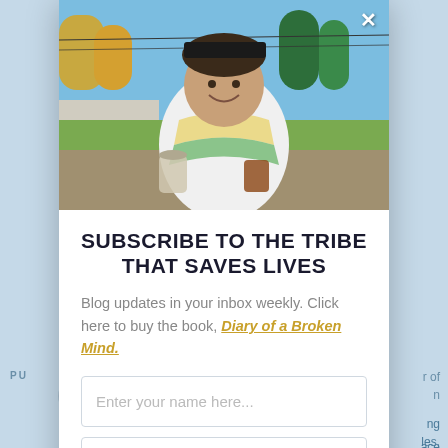[Figure (photo): A young man smiling outdoors, wearing a white t-shirt with a colorful design, holding drinks. Trees and blue sky in the background.]
SUBSCRIBE TO THE TRIBE THAT SAVES LIVES
Blog updates in your inbox weekly. Click here to buy the book, Diary of a Broken Mind.
Enter your name here...
Enter your email here...